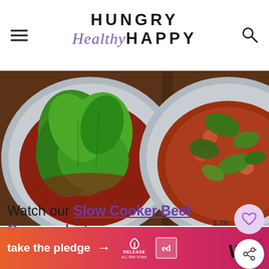[Figure (logo): Hungry Healthy Happy website logo with hamburger menu icon on left and search icon on right]
[Figure (photo): Two slow cooker bowls side by side: left bowl has fresh spinach leaves on top of a red tomato sauce, right bowl shows the spinach mixed into the beef curry sauce]
Watch our Slow Cooker Beef Curry web story.
[Figure (other): What's Next widget showing a small circular thumbnail of turmeric rice dish with label 'WHAT'S NEXT → Easy Turmeric Rice']
[Figure (other): Partial bottom text partially cut off, large bold letters]
[Figure (other): Orange-pink gradient ad banner reading 'take the pledge →' with RELEASE logo and ed box logo]